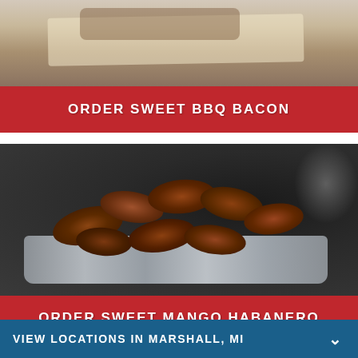[Figure (photo): Partial top view of Sweet BBQ Bacon food item on parchment paper on a metal surface]
ORDER SWEET BBQ BACON
[Figure (photo): Pile of Sweet Mango Habanero chicken wings on a foil tray on a dark metal kitchen surface, with blurred plates in background]
ORDER SWEET MANGO HABANERO
VIEW LOCATIONS IN MARSHALL, MI